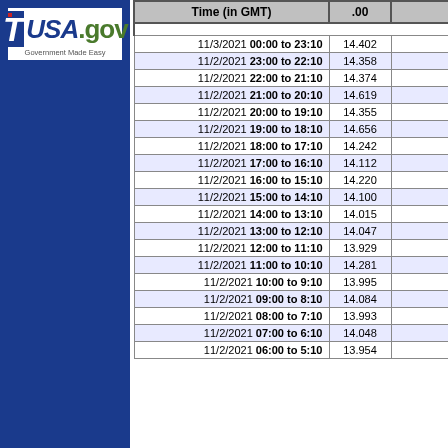[Figure (logo): USA.gov Government Made Easy logo on blue sidebar background]
| Time (in GMT) | .00 |  |
| --- | --- | --- |
|  |  |  |
| 11/3/2021 00:00 to 23:10 | 14.402 |  |
| 11/2/2021 23:00 to 22:10 | 14.358 |  |
| 11/2/2021 22:00 to 21:10 | 14.374 |  |
| 11/2/2021 21:00 to 20:10 | 14.619 |  |
| 11/2/2021 20:00 to 19:10 | 14.355 |  |
| 11/2/2021 19:00 to 18:10 | 14.656 |  |
| 11/2/2021 18:00 to 17:10 | 14.242 |  |
| 11/2/2021 17:00 to 16:10 | 14.112 |  |
| 11/2/2021 16:00 to 15:10 | 14.220 |  |
| 11/2/2021 15:00 to 14:10 | 14.100 |  |
| 11/2/2021 14:00 to 13:10 | 14.015 |  |
| 11/2/2021 13:00 to 12:10 | 14.047 |  |
| 11/2/2021 12:00 to 11:10 | 13.929 |  |
| 11/2/2021 11:00 to 10:10 | 14.281 |  |
| 11/2/2021 10:00 to 9:10 | 13.995 |  |
| 11/2/2021 09:00 to 8:10 | 14.084 |  |
| 11/2/2021 08:00 to 7:10 | 13.993 |  |
| 11/2/2021 07:00 to 6:10 | 14.048 |  |
| 11/2/2021 06:00 to 5:10 | 13.954 |  |